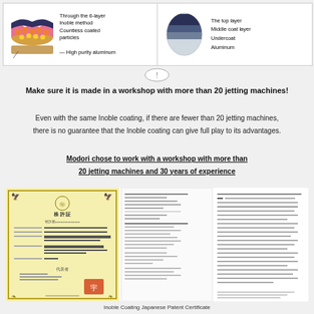[Figure (illustration): Left panel: 6-layer Inoble method diagram showing colorful coated particles on high purity aluminum. Right panel: Cross-section circle showing top layer, middle coat layer, undercoat, aluminum layers.]
[Figure (illustration): Oval icon with exclamation mark divider]
Make sure it is made in a workshop with more than 20 jetting machines!
Even with the same Inoble coating, if there are fewer than 20 jetting machines, there is no guarantee that the Inoble coating can give full play to its advantages.
Modori chose to work with a workshop with more than 20 jetting machines and 30 years of experience
[Figure (photo): Inoble Coating Japanese Patent Certificate — shows a yellow/gold bordered official Japanese patent certificate on the left, with accompanying Japanese text document pages to the right.]
Inoble Coating Japanese Patent Certificate